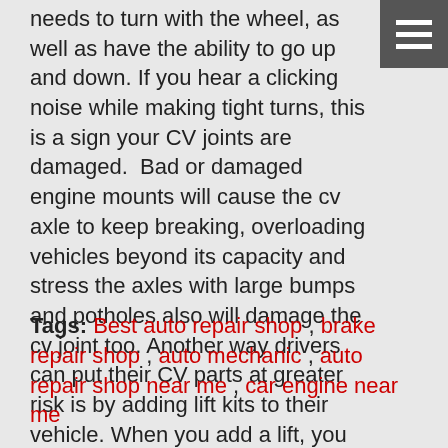needs to turn with the wheel, as well as have the ability to go up and down. If you hear a clicking noise while making tight turns, this is a sign your CV joints are damaged.  Bad or damaged engine mounts will cause the cv axle to keep breaking, overloading vehicles beyond its capacity and stress the axles with large bumps and potholes also will damage the cv joint too. Another way drivers can put their CV parts at greater risk is by adding lift kits to their vehicle. When you add a lift, you increase the distance between the differential and the wheel hub which puts additional pressure on the CV axle, joint and boots. Certified experience mechanic at an auto repair shop near your area will be able to determine the cause of why your cv axles get damaged.          ... read more
Tags: Best auto repair shop , brake repair shop , auto mechanic , auto repair shop near me , car engine near me